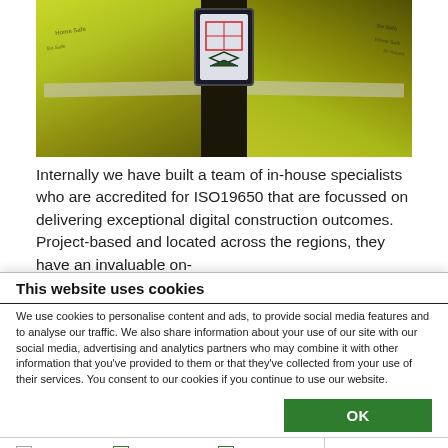[Figure (photo): Two construction workers wearing yellow high-visibility vests marked 'Be Safe Home Safe' and 'Sir Robert McAlpine', viewing a tablet device showing a BIM/digital construction model]
Internally we have built a team of in-house specialists who are accredited for ISO19650 that are focussed on delivering exceptional digital construction outcomes. Project-based and located across the regions, they have an invaluable on-
This website uses cookies
We use cookies to personalise content and ads, to provide social media features and to analyse our traffic. We also share information about your use of our site with our social media, advertising and analytics partners who may combine it with other information that you've provided to them or that they've collected from your use of their services. You consent to our cookies if you continue to use our website.
OK
Necessary  Preferences  Statistics  Marketing  Show details